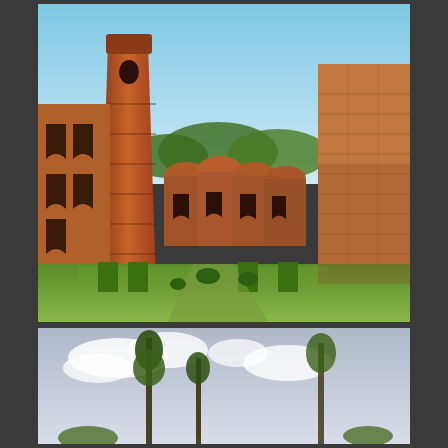[Figure (photo): HDR photograph of ancient brick ruins — a large historic mosque or fort complex with a tall octagonal minaret/tower on the left, rows of domed structures and arched facades in the center background, and a tall plain brick wall on the right. A green courtyard with trimmed hedges and grass leads into the complex. Bright blue sky above. Warm reddish-orange brick tones throughout.]
[Figure (photo): Partial photograph showing trees against a cloudy sky, with a Google reCAPTCHA badge overlay in the bottom-right corner showing the reCAPTCHA logo and 'Privacy - Terms' text.]